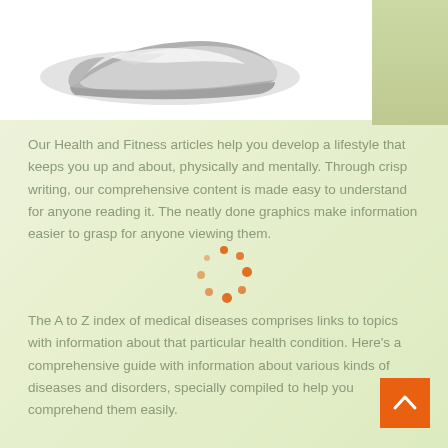[Figure (photo): Top portion of page showing athletic/running shoes on white background with green strip on right side]
Our Health and Fitness articles help you develop a lifestyle that keeps you up and about, physically and mentally. Through crisp writing, our comprehensive content is made easy to understand for anyone reading it. The neatly done graphics make information easier to grasp for anyone viewing them.
The A to Z index of medical diseases comprises links to topics with information about that particular health condition. Here's a comprehensive guide with information about various kinds of diseases and disorders, specially compiled to help you comprehend them easily.